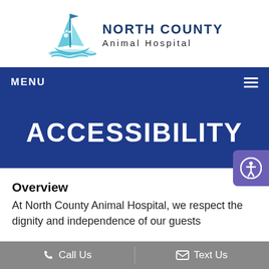[Figure (logo): North County Animal Hospital logo with teal sailboat and text]
MENU
ACCESSIBILITY
Overview
At North County Animal Hospital, we respect the dignity and independence of our guests
Call Us   Text Us